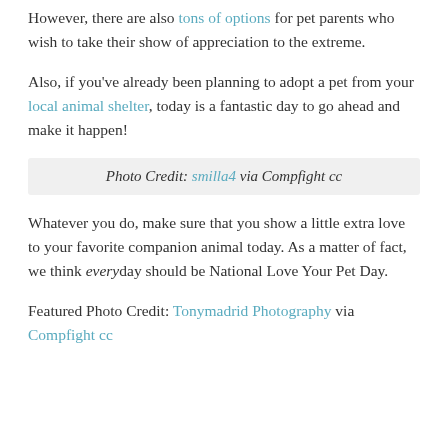However, there are also tons of options for pet parents who wish to take their show of appreciation to the extreme.
Also, if you've already been planning to adopt a pet from your local animal shelter, today is a fantastic day to go ahead and make it happen!
Photo Credit: smilla4 via Compfight cc
Whatever you do, make sure that you show a little extra love to your favorite companion animal today. As a matter of fact, we think every day should be National Love Your Pet Day.
Featured Photo Credit: Tonymadrid Photography via Compfight cc